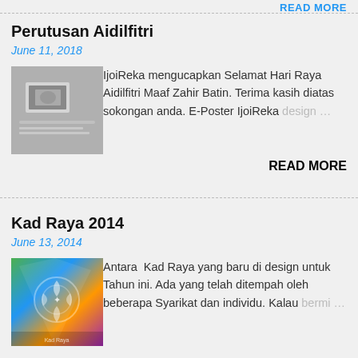READ MORE
Perutusan Aidilfitri
June 11, 2018
[Figure (photo): Grayscale photo of a card or paper on a table surface]
IjoiReka mengucapkan Selamat Hari Raya Aidilfitri Maaf Zahir Batin. Terima kasih diatas sokongan anda. E-Poster IjoiReka design …
READ MORE
Kad Raya 2014
June 13, 2014
[Figure (illustration): Colorful Kad Raya illustration with geometric and floral Arabic motifs on green, blue, orange, purple background]
Antara  Kad Raya yang baru di design untuk Tahun ini. Ada yang telah ditempah oleh beberapa Syarikat dan individu. Kalau bermi …